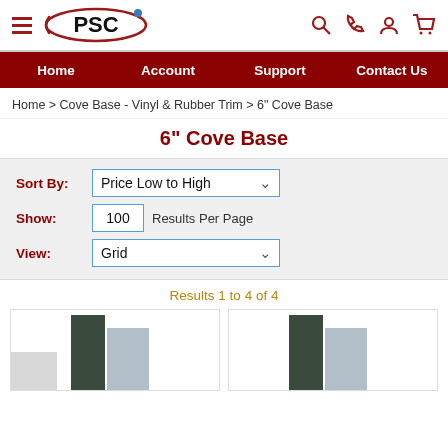[Figure (logo): PSC logo with hamburger menu icon on the left, and search, phone, account, cart icons on the right]
Home | Account | Support | Contact Us
Home > Cove Base - Vinyl & Rubber Trim > 6" Cove Base
6" Cove Base
Sort By: Price Low to High | Show: 100 Results Per Page | View: Grid
Results 1 to 4 of 4
[Figure (photo): Two product images showing 6 inch cove base samples in dark green/grey and light grey colors, displayed in two cards side by side]